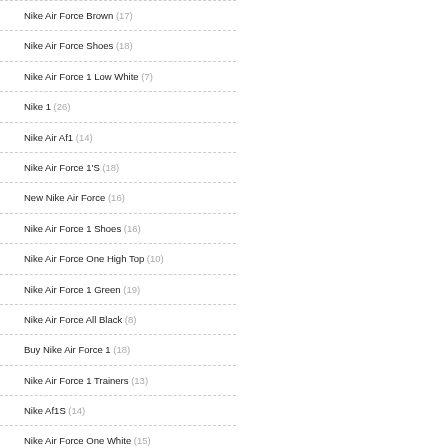Nike Air Force Brown (17)
Nike Air Force Shoes (18)
Nike Air Force 1 Low White (7)
Nike 1 (26)
Nike Air Af1 (14)
Nike Air Force 1'S (18)
New Nike Air Force (16)
Nike Air Force 1 Shoes (16)
Nike Air Force One High Top (10)
Nike Air Force 1 Green (19)
Nike Air Force All Black (8)
Buy Nike Air Force 1 (18)
Nike Air Force 1 Trainers (13)
Nike Af1S (14)
Nike Air Force One White (15)
Nike Air Max Air Force 1 (18)